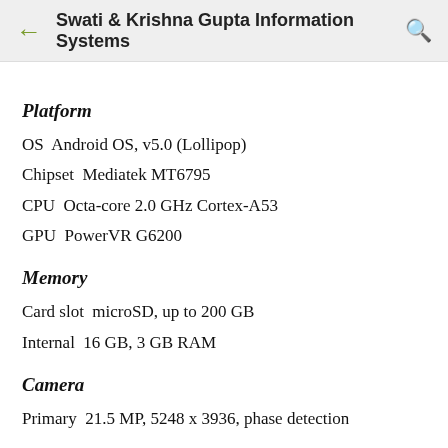Swati & Krishna Gupta Information Systems
Platform
OS  Android OS, v5.0 (Lollipop)
Chipset  Mediatek MT6795
CPU  Octa-core 2.0 GHz Cortex-A53
GPU  PowerVR G6200
Memory
Card slot  microSD, up to 200 GB
Internal  16 GB, 3 GB RAM
Camera
Primary  21.5 MP, 5248 x 3936, phase detection